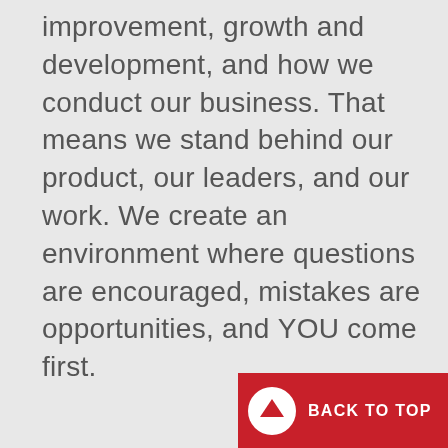improvement, growth and development, and how we conduct our business. That means we stand behind our product, our leaders, and our work. We create an environment where questions are encouraged, mistakes are opportunities, and YOU come first.
BACK TO TOP